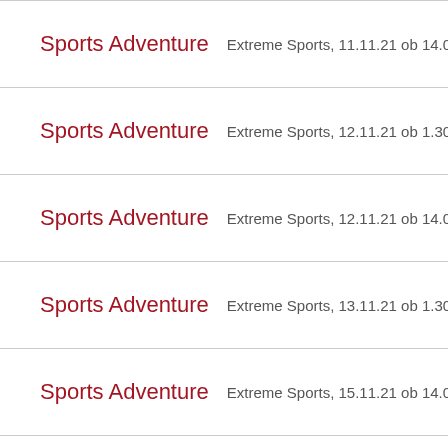Sports Adventure — Extreme Sports, 11.11.21 ob 14.00
Sports Adventure — Extreme Sports, 12.11.21 ob 1.30
Sports Adventure — Extreme Sports, 12.11.21 ob 14.00
Sports Adventure — Extreme Sports, 13.11.21 ob 1.30
Sports Adventure — Extreme Sports, 15.11.21 ob 14.00
Sports Adventure — Extreme Sports, 16.11.21 ob 1.30
Sports Adventure — Extreme Sports, 16.11.21 ob 14.00